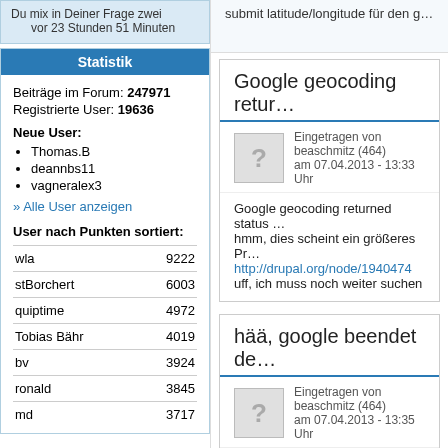Du mix in Deiner Frage zwei
vor 23 Stunden 51 Minuten
Statistik
Beiträge im Forum: 247971
Registrierte User: 19636
Neue User:
Thomas.B
deannbs11
vagneralex3
» Alle User anzeigen
User nach Punkten sortiert:
| User | Punkte |
| --- | --- |
| wla | 9222 |
| stBorchert | 6003 |
| quiptime | 4972 |
| Tobias Bähr | 4019 |
| bv | 3924 |
| ronald | 3845 |
| md | 3717 |
submit latitude/longitude für den g...
Google geocoding retur...
Eingetragen von beaschmitz (464)
am 07.04.2013 - 13:33 Uhr
Google geocoding returned status ...
hmm, dies scheint ein größeres Pr...
http://drupal.org/node/1940474
uff, ich muss noch weiter suchen
hää, google beendet de...
Eingetragen von beaschmitz (464)
am 07.04.2013 - 13:35 Uhr
häã, google beendet den support f...